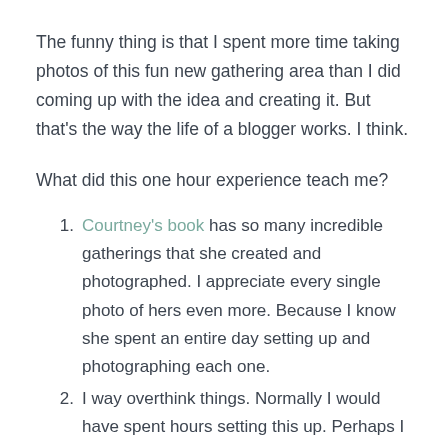The funny thing is that I spent more time taking photos of this fun new gathering area than I did coming up with the idea and creating it. But that's the way the life of a blogger works. I think.
What did this one hour experience teach me?
Courtney's book has so many incredible gatherings that she created and photographed. I appreciate every single photo of hers even more. Because I know she spent an entire day setting up and photographing each one.
I way overthink things. Normally I would have spent hours setting this up. Perhaps I need to